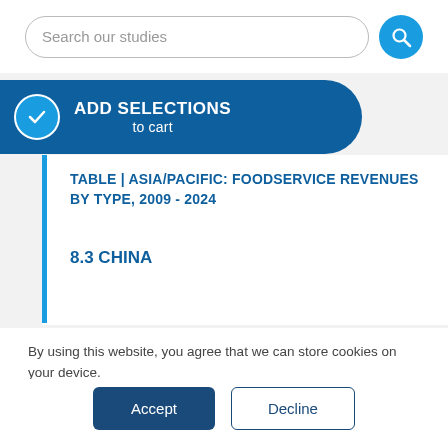[Figure (screenshot): Search bar with text 'Search our studies' and a blue circular search button icon]
[Figure (infographic): Blue 'ADD SELECTIONS to cart' banner button with white checkmark circle icon]
TABLE | ASIA/PACIFIC: FOODSERVICE REVENUES BY TYPE, 2009 - 2024
8.3 CHINA
By using this website, you agree that we can store cookies on your device.
We use cookies to improve the user experience, personalize your visit, and compile aggregate statistics.
More information can be found in our Privacy Policy.
[Figure (screenshot): Two buttons: 'Accept' (dark blue filled) and 'Decline' (white with blue border)]